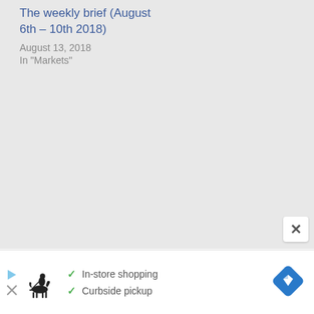The weekly brief (August 6th – 10th 2018)
August 13, 2018
In "Markets"
[Figure (other): Advertisement banner with Polo Ralph Lauren logo, checklist items 'In-store shopping' and 'Curbside pickup' with checkmarks, and a navigation/directions icon]
[Figure (other): Close (X) button overlay on main content area]